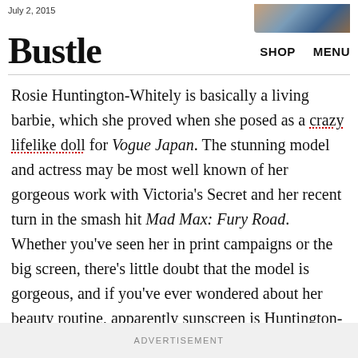July 2, 2015
Bustle
Rosie Huntington-Whitely is basically a living barbie, which she proved when she posed as a crazy lifelike doll for Vogue Japan. The stunning model and actress may be most well known of her gorgeous work with Victoria's Secret and her recent turn in the smash hit Mad Max: Fury Road. Whether you've seen her in print campaigns or the big screen, there's little doubt that the model is gorgeous, and if you've ever wondered about her beauty routine, apparently sunscreen is Huntington-Whitley's skin care secret.
ADVERTISEMENT